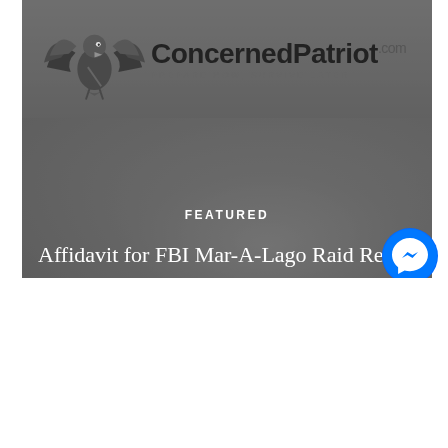[Figure (screenshot): ConcernedPatriot.com website banner with eagle logo, tagline 'PREPARE NOW, SURVIVE LATER', featured label, and article title 'Affidavit for FBI Mar-A-Lago Raid Released' with Facebook Messenger icon overlay.]
Affidavit for FBI Mar-A-Lago Raid Released